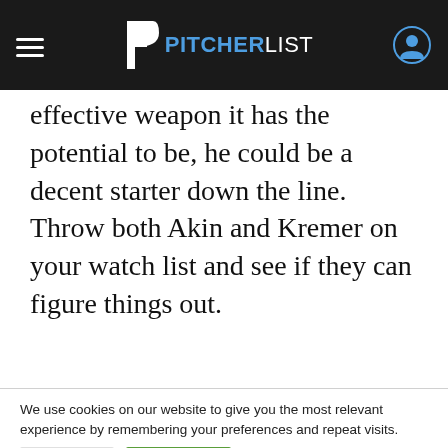PITCHERLIST
effective weapon it has the potential to be, he could be a decent starter down the line. Throw both Akin and Kremer on your watch list and see if they can figure things out.
We use cookies on our website to give you the most relevant experience by remembering your preferences and repeat visits.